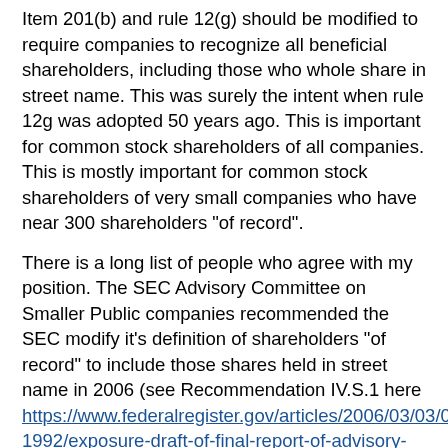Item 201(b) and rule 12(g) should be modified to require companies to recognize all beneficial shareholders, including those who whole share in street name.  This was surely the intent when rule 12g was adopted 50 years ago.  This is important for common stock shareholders of all companies.  This is mostly important for common stock shareholders of very small companies who have near 300 shareholders "of record".
There is a long list of people who agree with my position.  The SEC Advisory Committee on Smaller Public companies recommended the SEC modify it's definition of shareholders "of record" to include those shares held in street name in 2006 (see Recommendation IV.S.1 here https://www.federalregister.gov/articles/2006/03/03/06-1992/exposure-draft-of-final-report-of-advisory-committee-on-smaller-public-companies).  Stephen J. Nelson, on behalf of eight institutional investors, authored a petition dated July 3, 2003 to amend Rule 12g5-1 in a manner similar to that which the Committee has proposed.  The NY State Bar also expressed general support for a reconsideration of the “held of record” definition.  Attorneys, who represent smaller public